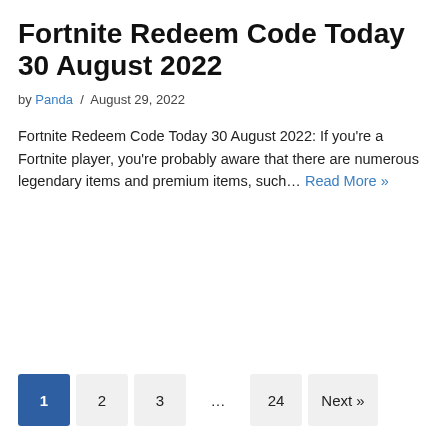Fortnite Redeem Code Today 30 August 2022
by Panda / August 29, 2022
Fortnite Redeem Code Today 30 August 2022: If you're a Fortnite player, you're probably aware that there are numerous legendary items and premium items, such… Read More »